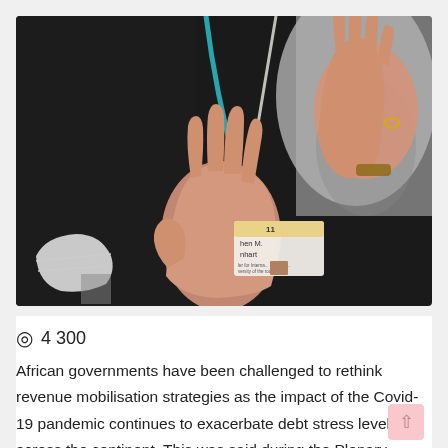[Figure (photo): Close-up photo of two hands raised/gesturing, person wearing a conference name badge reading 'hen M. nhart', wearing black clothing with a teal lanyard, partially visible white shirt in background]
◎ 4 300
African governments have been challenged to rethink revenue mobilisation strategies as the impact of the Covid-19 pandemic continues to exacerbate debt stress levels across the continent. This was said during the Plenary Session of the African Economic Research